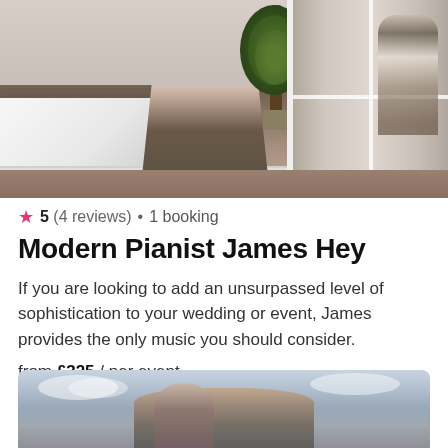[Figure (photo): A male pianist in a floral shirt and grey vest playing a white grand piano in a room with a plant and mirror reflections]
5 (4 reviews) • 1 booking
Modern Pianist James Hey
If you are looking to add an unsurpassed level of sophistication to your wedding or event, James provides the only music you should consider.
from £325 / per event
[Figure (photo): Partial view of another musician listing photo with cloudy sky background]